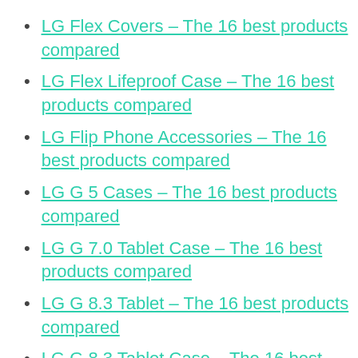LG Flex Covers – The 16 best products compared
LG Flex Lifeproof Case – The 16 best products compared
LG Flip Phone Accessories – The 16 best products compared
LG G 5 Cases – The 16 best products compared
LG G 7.0 Tablet Case – The 16 best products compared
LG G 8.3 Tablet – The 16 best products compared
LG G 8.3 Tablet Case – The 16 best products compared